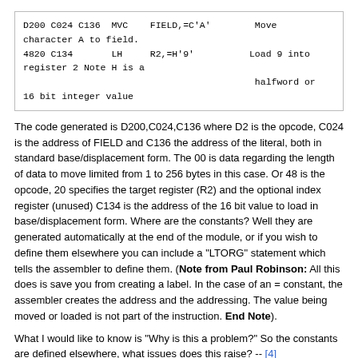[Figure (screenshot): Code block showing assembly language instructions: D200 C024 C136 MVC FIELD,=C'A' Move character A to field. 4820 C134 LH R2,=H'9' Load 9 into register 2 Note H is a halfword or 16 bit integer value]
The code generated is D200,C024,C136 where D2 is the opcode, C024 is the address of FIELD and C136 the address of the literal, both in standard base/displacement form. The 00 is data regarding the length of data to move limited from 1 to 256 bytes in this case. Or 48 is the opcode, 20 specifies the target register (R2) and the optional index register (unused) C134 is the address of the 16 bit value to load in base/displacement form. Where are the constants? Well they are generated automatically at the end of the module, or if you wish to define them elsewhere you can include a "LTORG" statement which tells the assembler to define them. (Note from Paul Robinson: All this does is save you from creating a label. In the case of an = constant, the assembler creates the address and the addressing. The value being moved or loaded is not part of the instruction. End Note).
What I would like to know is "Why is this a problem?" So the constants are defined elsewhere, what issues does this raise? -- [4]
(Note from Paul Robinson: Some machines would give you the ability to write code in which a constant was part of the instruction and could be